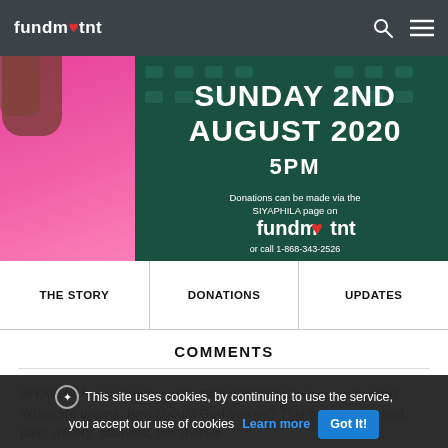fundm♥tnt
[Figure (photo): Banner image showing a woman in a pink dress on the left, with a teal/green African-pattern background on the right. Text overlay reads: SUNDAY 2ND AUGUST 2020, 5PM. Donations can be made via the SIYAPHILA page on fundm♥tnt or call 1-868-343-2526]
THE STORY | DONATIONS | UPDATES
COMMENTS
SIYAPHILA is a Xhosa word which translates to 'we are healing'. When life begins, how should God see us? This has caused hurt, pain, misery, sadness, low morale